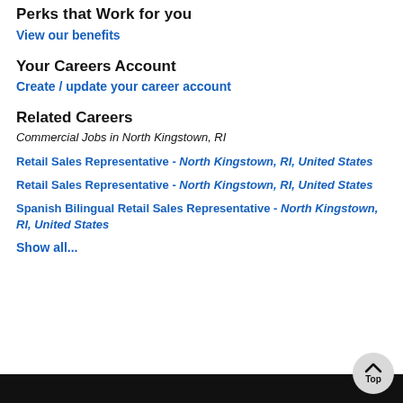Perks that Work for you
View our benefits
Your Careers Account
Create / update your career account
Related Careers
Commercial Jobs in North Kingstown, RI
Retail Sales Representative - North Kingstown, RI, United States
Retail Sales Representative - North Kingstown, RI, United States
Spanish Bilingual Retail Sales Representative - North Kingstown, RI, United States
Show all...
Top